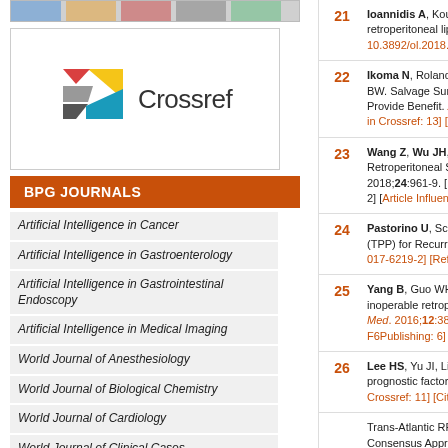[Figure (logo): Crossref logo with colorful geometric shapes and 'Crossref' text]
BPG JOURNALS
Artificial Intelligence in Cancer
Artificial Intelligence in Gastroenterology
Artificial Intelligence in Gastrointestinal Endoscopy
Artificial Intelligence in Medical Imaging
World Journal of Anesthesiology
World Journal of Biological Chemistry
World Journal of Cardiology
World Journal of Clinical Cases
World Journal of Clinical Infectious Diseases
World Journal of Clinical Oncology
World Journal of Clinical Pediatrics
Ioannidis A, Koutser... retroperitoneal liposar... 10.3892/ol.2018.8791]
Ikoma N, Roland CL, ... BW. Salvage Surgery ... Provide Benefit. Ann S... in Crossref: 13] [Cited...
Wang Z, Wu JH, Lv A... Retroperitoneal Sarco... 2018;24:961-9. [PMID... 2] [Article Influence: 0....
Pastorino U, Scanaga... (TPP) for Recurrent Th... 017-6219-2] [Referenc...
Yang B, Guo WH, Lan... inoperable retroperiton... Med. 2016;12:3843-38... F6Publishing: 6] [Artic...
Lee HS, Yu JI, Lim DH... prognostic factors. Rad... Crossref: 11] [Cited by...
Trans-Atlantic RPS Wo... Consensus Approach...